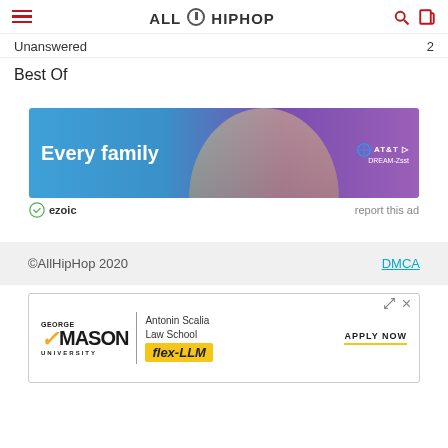ALLHIPHOP
Unanswered   2
Best Of
[Figure (photo): AT&T DREAM advertisement banner showing three women with text 'Every family']
ezoic   report this ad
©AllHipHop 2020   DMCA
[Figure (photo): George Mason University Antonin Scalia Law School flex-LLM advertisement with Apply Now CTA]